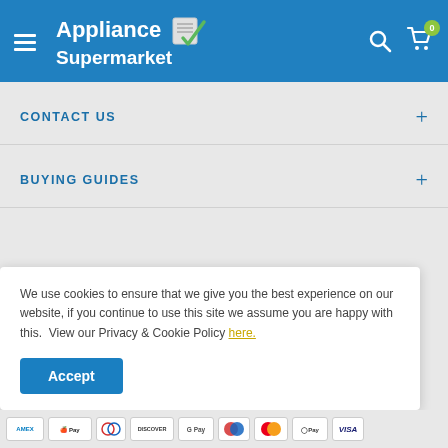Appliance Supermarket
CONTACT US
BUYING GUIDES
Follow Us
We use cookies to ensure that we give you the best experience on our website, if you continue to use this site we assume you are happy with this.  View our Privacy & Cookie Policy here.
Accept
AMEX  Apple Pay  Diners  DISCOVER  G Pay  Maestro  Mastercard  OPay  VISA